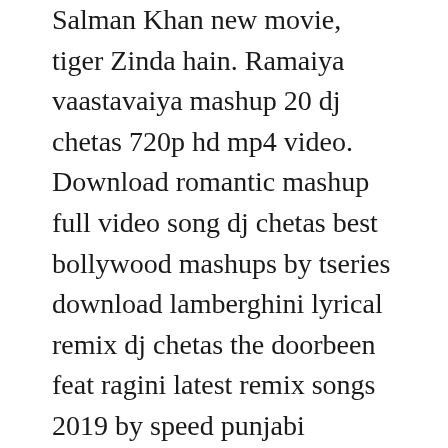Salman Khan new movie, tiger Zinda hain. Ramaiya vaastavaiya mashup 20 dj chetas 720p hd mp4 video. Download romantic mashup full video song dj chetas best bollywood mashups by tseries download lamberghini lyrical remix dj chetas the doorbeen feat ragini latest remix songs 2019 by speed punjabi download the break up mashup full video song 2014 dj chetas by tseries download recent search. My debut album consisting of my latest and favourite mashups along with a revibe of one of my all time favourite tracks unchi hai building. Free